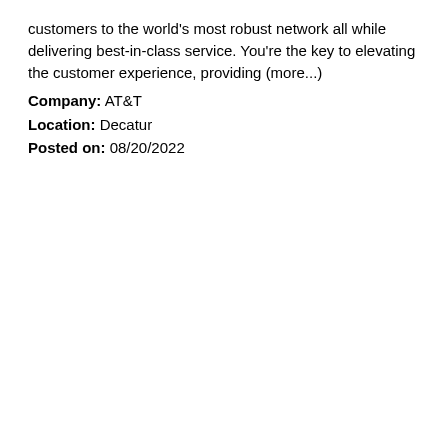customers to the world's most robust network all while delivering best-in-class service. You're the key to elevating the customer experience, providing (more...)
Company: AT&T
Location: Decatur
Posted on: 08/20/2022